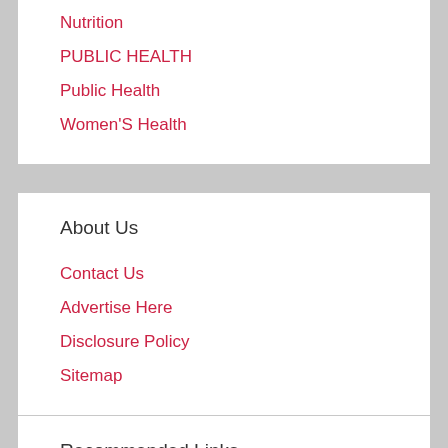Nutrition
PUBLIC HEALTH
Public Health
Women'S Health
About Us
Contact Us
Advertise Here
Disclosure Policy
Sitemap
Recommended Links